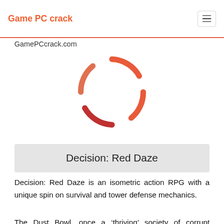Game PC crack
GamePCcrack.com
[Figure (other): Circular loading spinner icon made of orange-red arcs arranged in a circle pattern]
Decision: Red Daze
Decision: Red Daze is an isometric action RPG with a unique spin on survival and tower defense mechanics.
The Dust Bowl, once a ‘thriving’ society of corrupt politicians, rich property barons and everyday people who work for them ‘100% willingly’, has been overtaken by a mysterious phenomenon only known by survivors